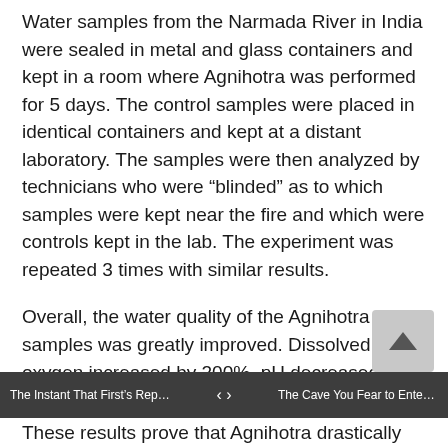Water samples from the Narmada River in India were sealed in metal and glass containers and kept in a room where Agnihotra was performed for 5 days. The control samples were placed in identical containers and kept at a distant laboratory. The samples were then analyzed by technicians who were “blinded” as to which samples were kept near the fire and which were controls kept in the lab. The experiment was repeated 3 times with similar results.
Overall, the water quality of the Agnihotra samples was greatly improved. Dissolved oxygen increased by 200%, pH decreased toward neutral, chemical oxygen demand, hardness and Coliform count all decreased by approximately 70%.
The Instant That First’s Repeat T... ‹ › The Cave You Fear to Enter Hold...
These results prove that Agnihotra drastically